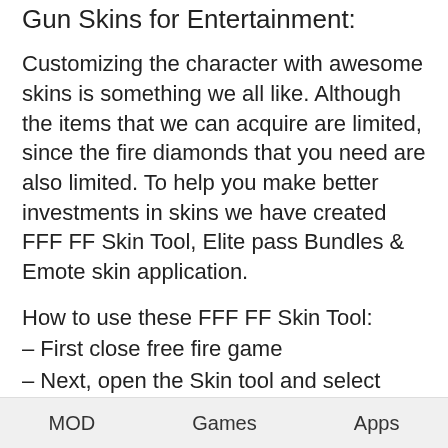Gun Skins for Entertainment:
Customizing the character with awesome skins is something we all like. Although the items that we can acquire are limited, since the fire diamonds that you need are also limited. To help you make better investments in skins we have created FFF FF Skin Tool, Elite pass Bundles & Emote skin application.
How to use these FFF FF Skin Tool:
– First close free fire game
– Next, open the Skin tool and select your skin or weapon that you want to activate.
– Then Click active skin on the next page.
– Click Use this folder on the next step. (With above android 10)
– Open the game and enjoy your skin.
Note: Please ensure that you have downloaded the
MOD    Games    Apps